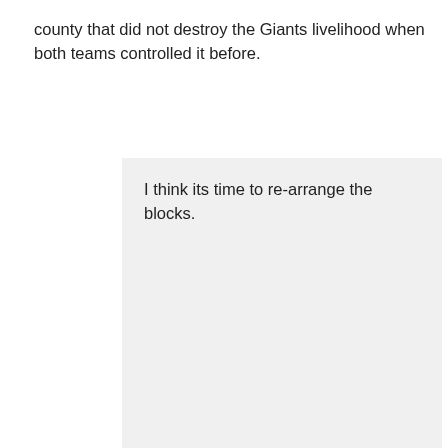county that did not destroy the Giants livelihood when both teams controlled it before.
I think its time to re-arrange the blocks.